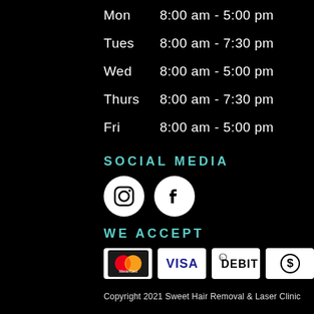| Day | Hours |
| --- | --- |
| Mon | 8:00 am - 5:00 pm |
| Tues | 8:00 am - 7:30 pm |
| Wed | 8:00 am - 5:00 pm |
| Thurs | 8:00 am - 7:30 pm |
| Fri | 8:00 am - 5:00 pm |
SOCIAL MEDIA
[Figure (illustration): Instagram and Facebook social media icons (white circles with logos)]
WE ACCEPT
[Figure (illustration): Payment method icons: MasterCard, VISA, DEBIT, and a dollar coin symbol]
Copyright 2021 Sweet Hair Removal & Laser Clinic